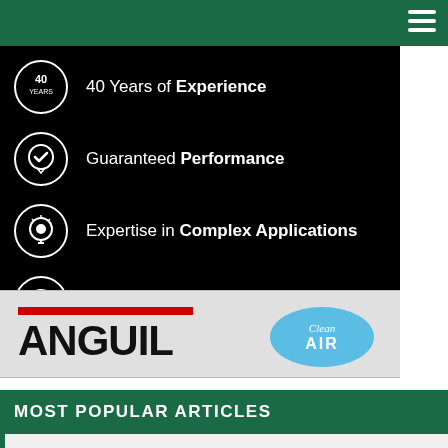[Figure (infographic): Black background ad panel for Anguil Clean Air showing four bullet points with white circular icons: '40 Years of Experience', 'Guaranteed Performance', 'Expertise in Complex Applications', '99%+ Destruction for Compliance']
[Figure (logo): Anguil Clean Air logo on light gray background — red horizontal bar above large black ANGUIL wordmark, with blue cloud Clean Air logo on the right]
MOST POPULAR ARTICLES
Four Environmentally Conscious Ways to Manage Stormwater Runoff
Alleged Clean Water Act Violations: Idaho and Missouri Companies Agree to Pay Penalties